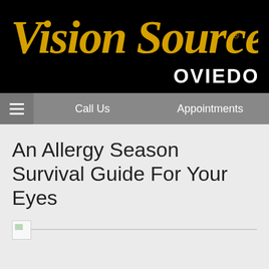[Figure (logo): Vision Source Oviedo logo — cursive yellow 'Vision Source' text with registered trademark symbol on black background, with bold white 'OVIEDO' text below-right]
Call Us   Appointments
An Allergy Season Survival Guide For Your Eyes
[Figure (photo): Broken/unloaded image placeholder icon]